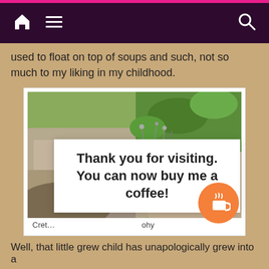Navigation bar with home, menu, and search icons
used to float on top of soups and such, not so much to my liking in my childhood.
[Figure (photo): A glass jar filled with dried herbs (appears to be oregano or similar Mediterranean herb) placed on a rocky stone surface with green plants in the background. The jar has a label reading 'origanum microphyllum'.]
Cret... ...phy
Thank you for visiting. You can now buy me a coffee!
Well, that little grew child has unapologically grew into a